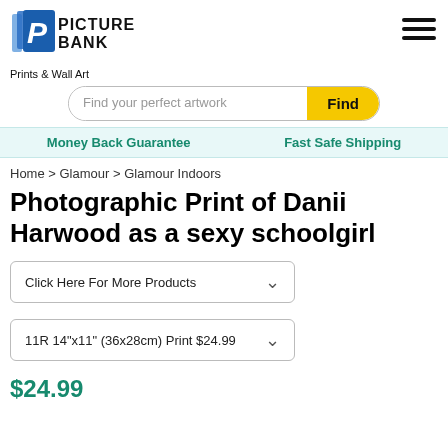[Figure (logo): Picture Bank logo with blue P icon and text 'PICTURE BANK']
Prints & Wall Art
Find your perfect artwork
Money Back Guarantee
Fast Safe Shipping
Home > Glamour > Glamour Indoors
Photographic Print of Danii Harwood as a sexy schoolgirl
Click Here For More Products
11R 14"x11" (36x28cm) Print $24.99
$24.99